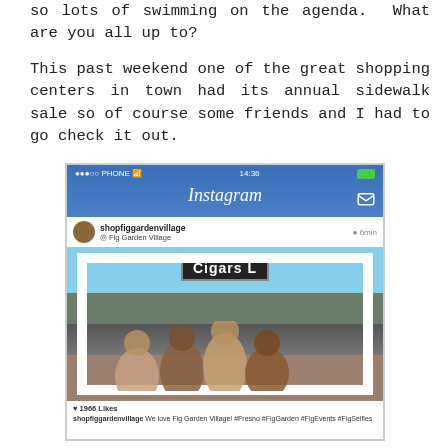so lots of swimming on the agenda.  What are you all up to?
This past weekend one of the great shopping centers in town had its annual sidewalk sale so of course some friends and I had to go check it out.
[Figure (photo): A photo of a large Instagram frame prop being held up outdoors at a shopping center (Fig Garden Village). The Instagram UI shows the username 'shopfiggardenvillage', location 'Fig Garden Village', time '6min', and a photo of a group of women wearing sunglasses posing in front of a Cigars store. The post shows 1966 Likes and a caption: 'shopfiggardenvillage We love Fig Garden Village! #Fresno #FigGarden #FigEvents #FigSelfies']